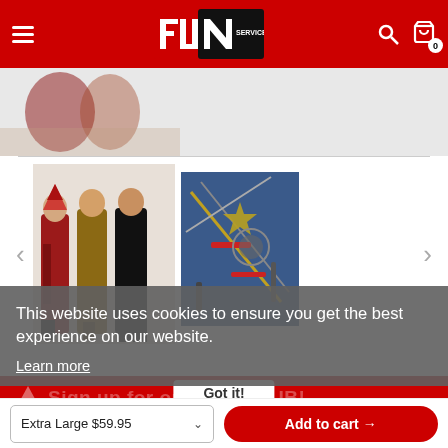[Figure (logo): Fun Services logo — white FUN text with black background on red header background]
[Figure (photo): Three women in Halloween costumes (warrior, animal print, police) and a flat-lay of pirate/toy weapons on blue background]
This website uses cookies to ensure you get the best experience on our website.
Learn more
Sign up for our FUN CLUB!
Got it!
Extra Large $59.95
Add to cart